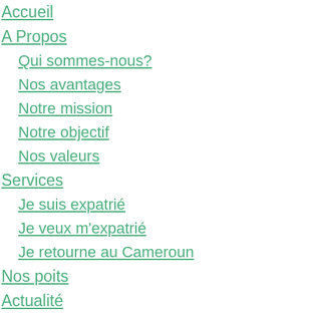Accueil
A Propos
Qui sommes-nous?
Nos avantages
Notre mission
Notre objectif
Nos valeurs
Services
Je suis expatrié
Je veux m'expatrié
Je retourne au Cameroun
Nos poits
Actualité
Gallerie Photo